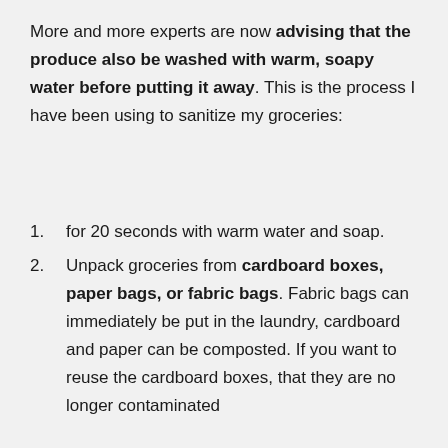More and more experts are now advising that the produce also be washed with warm, soapy water before putting it away. This is the process I have been using to sanitize my groceries:
for 20 seconds with warm water and soap.
Unpack groceries from cardboard boxes, paper bags, or fabric bags. Fabric bags can immediately be put in the laundry, cardboard and paper can be composted. If you want to reuse the cardboard boxes, that they are no longer contaminated